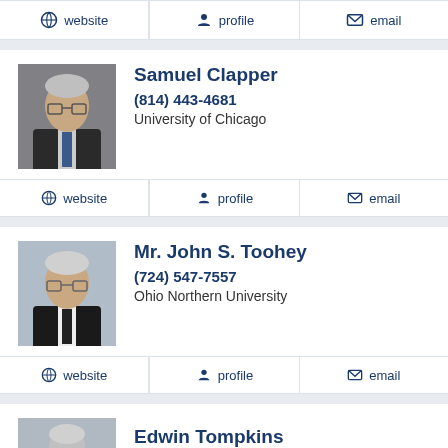website | profile | email
[Figure (photo): Headshot of Samuel Clapper, older man in suit]
Samuel Clapper
(814) 443-4681
University of Chicago
website | profile | email
[Figure (photo): Headshot of Mr. John S. Toohey, older man in suit]
Mr. John S. Toohey
(724) 547-7557
Ohio Northern University
website | profile | email
Edwin Tompkins